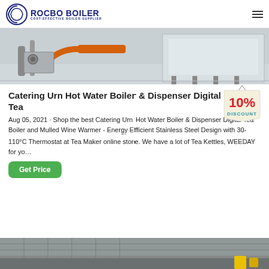ROCBO BOILER - COST-EFFECTIVE BOILER SUPPLIER
[Figure (photo): Industrial boiler machinery with orange pipes and metal casing]
Catering Urn Hot Water Boiler & Dispenser Digital Tea
[Figure (illustration): 10% DISCOUNT badge/sticker]
Aug 05, 2021 · Shop the best Catering Urn Hot Water Boiler & Dispenser Digital Tea Boiler and Mulled Wine Warmer - Energy Efficient Stainless Steel Design with 30-110°C Thermostat at Tea Maker online store. We have a lot of Tea Kettles, WEEDAY for yo…
[Figure (photo): Bottom partial industrial equipment photo]